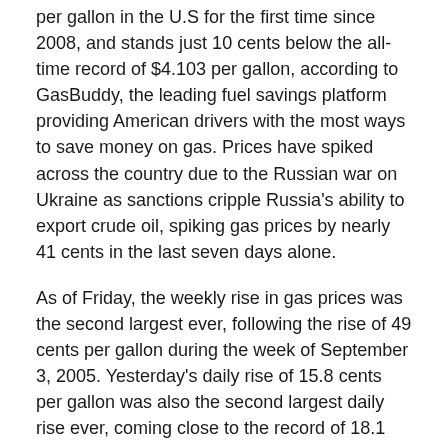per gallon in the U.S for the first time since 2008, and stands just 10 cents below the all-time record of $4.103 per gallon, according to GasBuddy, the leading fuel savings platform providing American drivers with the most ways to save money on gas. Prices have spiked across the country due to the Russian war on Ukraine as sanctions cripple Russia's ability to export crude oil, spiking gas prices by nearly 41 cents in the last seven days alone.
As of Friday, the weekly rise in gas prices was the second largest ever, following the rise of 49 cents per gallon during the week of September 3, 2005. Yesterday's daily rise of 15.8 cents per gallon was also the second largest daily rise ever, coming close to the record of 18.1 cents per gallon set as Hurricane Katrina tore through the Gulf 17 years ago. Diesel prices, however, didn't share the same fate as gasoline, as diesel soared to its largest daily gain ever: 22.2 cents per gallon, 6 cents higher than the previous record from 2013.